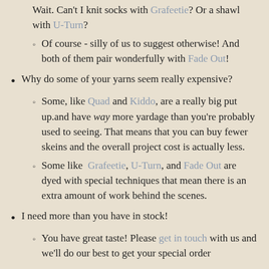Wait. Can't I knit socks with Grafeetie? Or a shawl with U-Turn?
Of course - silly of us to suggest otherwise! And both of them pair wonderfully with Fade Out!
Why do some of your yarns seem really expensive?
Some, like Quad and Kiddo, are a really big put up.and have way more yardage than you're probably used to seeing. That means that you can buy fewer skeins and the overall project cost is actually less.
Some like Grafeetie, U-Turn, and Fade Out are dyed with special techniques that mean there is an extra amount of work behind the scenes.
I need more than you have in stock!
You have great taste! Please get in touch with us and we'll do our best to get your special order